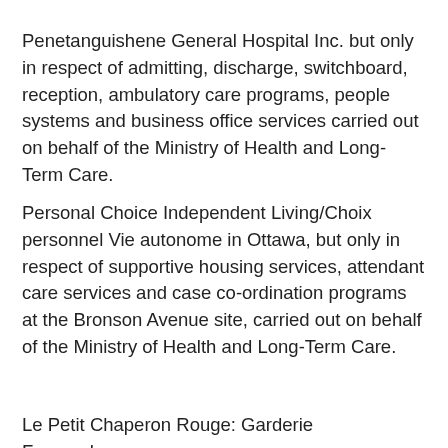Penetanguishene General Hospital Inc. but only in respect of admitting, discharge, switchboard, reception, ambulatory care programs, people systems and business office services carried out on behalf of the Ministry of Health and Long-Term Care.
Personal Choice Independent Living/Choix personnel Vie autonome in Ottawa, but only in respect of supportive housing services, attendant care services and case co-ordination programs at the Bronson Avenue site, carried out on behalf of the Ministry of Health and Long-Term Care.
Le Petit Chaperon Rouge: Garderie Francophone